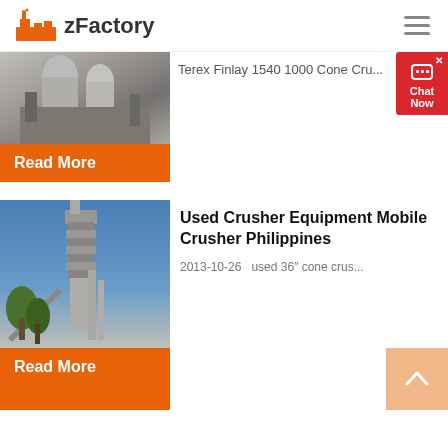zFactory
[Figure (photo): Grayscale industrial facility with silos and equipment]
Terex Finlay 1540 1000 Cone Cru...
Read More
[Figure (photo): Industrial crushing/cement plant against blue sky]
Used Crusher Equipment Mobile Crusher Philippines
2013-10-26   used 36″ cone crus...
Read More